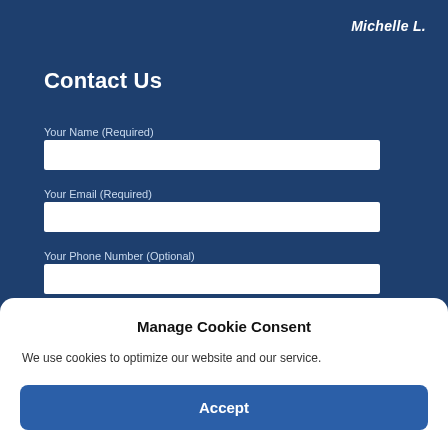Michelle L.
Contact Us
Your Name (Required)
Your Email (Required)
Your Phone Number (Optional)
Manage Cookie Consent
We use cookies to optimize our website and our service.
Accept